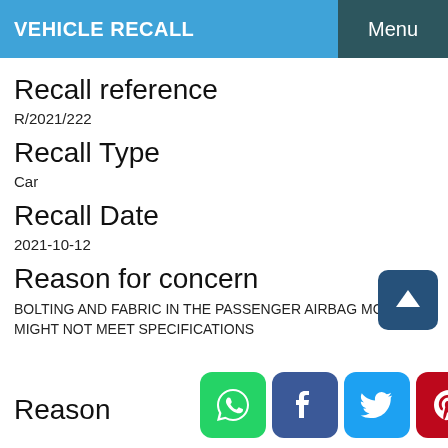VEHICLE RECALL   Menu
Recall reference
R/2021/222
Recall Type
Car
Recall Date
2021-10-12
Reason for concern
BOLTING AND FABRIC IN THE PASSENGER AIRBAG MODULE MIGHT NOT MEET SPECIFICATIONS
Reason